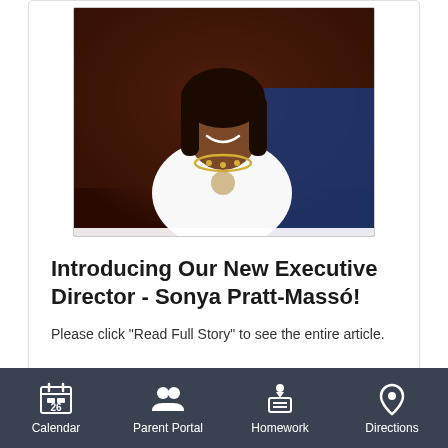[Figure (photo): Portrait photo of Sonya Pratt-Massó, a smiling woman in a white outfit with a necklace, at what appears to be a graduation ceremony]
Introducing Our New Executive Director - Sonya Pratt-Massó!
Please click "Read Full Story" to see the entire article.
Published July 1, 2021
Calendar | Parent Portal | Homework | Directions